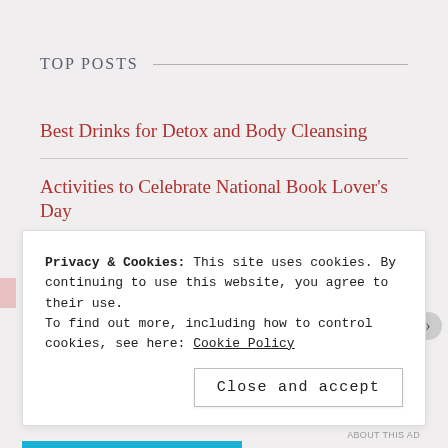TOP POSTS
Best Drinks for Detox and Body Cleansing
Activities to Celebrate National Book Lover's Day
How to Save Money on Holiday
20 Cute Summer Date Ideas
Privacy & Cookies: This site uses cookies. By continuing to use this website, you agree to their use.
To find out more, including how to control cookies, see here: Cookie Policy
Close and accept